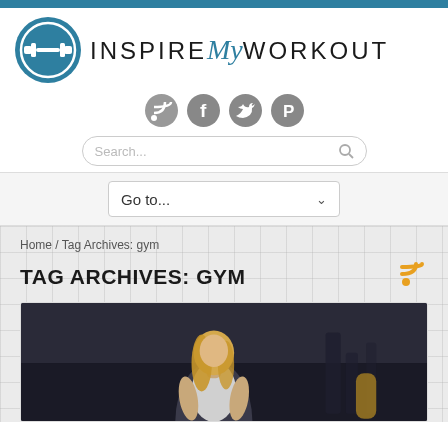[Figure (logo): InspireMyWorkout logo with dumbbell icon in teal circle and text INSPIRE My WORKOUT]
[Figure (infographic): Four social media icons: RSS, Facebook, Twitter, Pinterest - all in gray circles]
[Figure (screenshot): Search bar with placeholder text Search...]
Go to...
Home / Tag Archives: gym
TAG ARCHIVES: GYM
[Figure (photo): Blonde woman in white tank top posing in a gym environment]